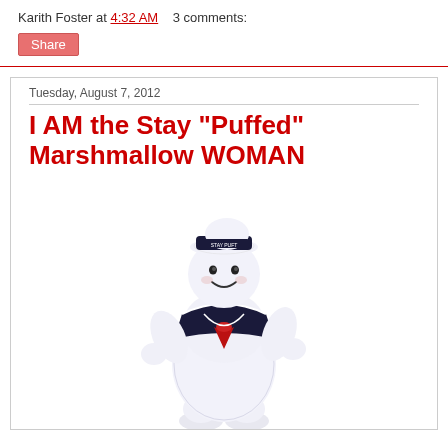Karith Foster at 4:32 AM    3 comments:
Share
Tuesday, August 7, 2012
I AM the Stay "Puffed" Marshmallow WOMAN
[Figure (photo): Stay Puft Marshmallow Man figurine - a white puffy character wearing a sailor outfit with navy collar, red necktie, and a white sailor cap. The figure has arms outstretched and a smiling face.]